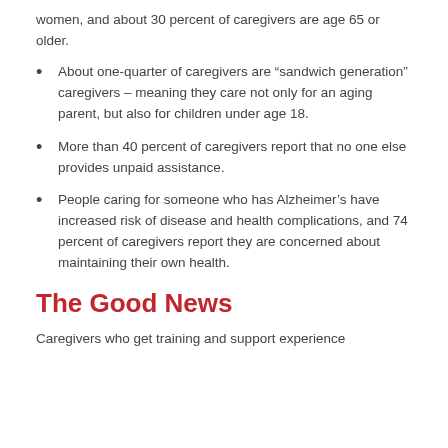women, and about 30 percent of caregivers are age 65 or older.
About one-quarter of caregivers are “sandwich generation” caregivers – meaning they care not only for an aging parent, but also for children under age 18.
More than 40 percent of caregivers report that no one else provides unpaid assistance.
People caring for someone who has Alzheimer’s have increased risk of disease and health complications, and 74 percent of caregivers report they are concerned about maintaining their own health.
The Good News
Caregivers who get training and support experience